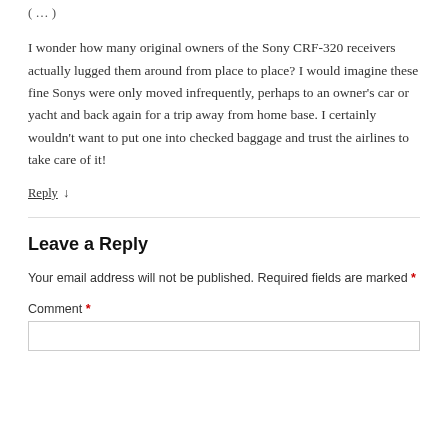( … ) [cut off at top]
I wonder how many original owners of the Sony CRF-320 receivers actually lugged them around from place to place? I would imagine these fine Sonys were only moved infrequently, perhaps to an owner's car or yacht and back again for a trip away from home base. I certainly wouldn't want to put one into checked baggage and trust the airlines to take care of it!
Reply ↓
Leave a Reply
Your email address will not be published. Required fields are marked *
Comment *